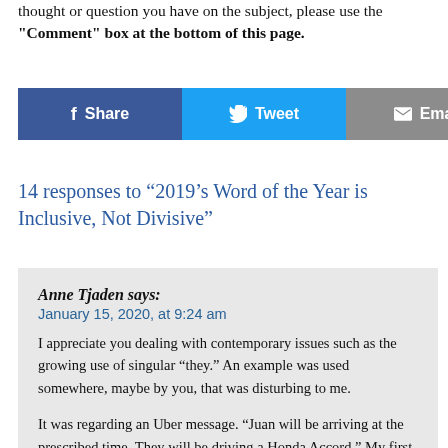thought or question you have on the subject, please use the "Comment" box at the bottom of this page.
[Figure (other): Social sharing buttons: Facebook Share, Twitter Tweet, Email]
14 responses to “2019’s Word of the Year is Inclusive, Not Divisive”
Anne Tjaden says: January 15, 2020, at 9:24 am
I appreciate you dealing with contemporary issues such as the growing use of singular “they.” An example was used somewhere, maybe by you, that was disturbing to me.

It was regarding an Uber message. “Juan will be arriving at the prescribed time. They will be driving a Honda Accord.” My first inclination was to want to write to Uber